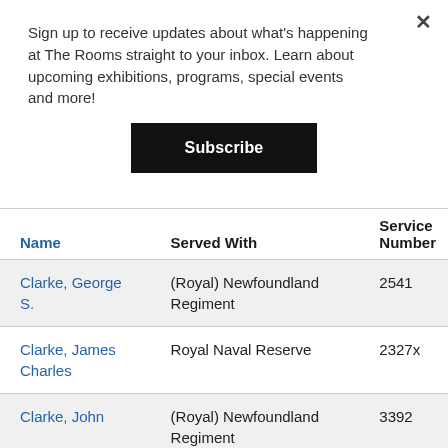Sign up to receive updates about what's happening at The Rooms straight to your inbox. Learn about upcoming exhibitions, programs, special events and more!
Subscribe
| Name | Served With | Service Number |
| --- | --- | --- |
| Clarke, George S. | (Royal) Newfoundland Regiment | 2541 |
| Clarke, James Charles | Royal Naval Reserve | 2327x |
| Clarke, John | (Royal) Newfoundland Regiment | 3392 |